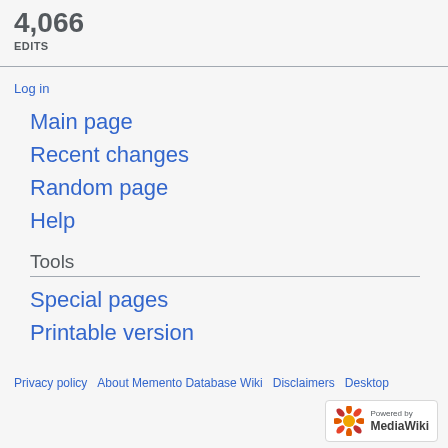4,066
EDITS
Log in
Main page
Recent changes
Random page
Help
Tools
Special pages
Printable version
Privacy policy  About Memento Database Wiki  Disclaimers  Desktop